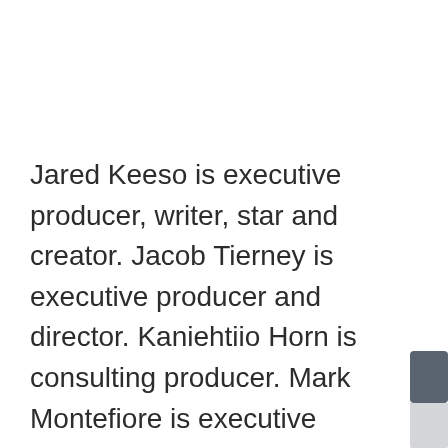Jared Keeso is executive producer, writer, star and creator. Jacob Tierney is executive producer and director. Kaniehtiio Horn is consulting producer. Mark Montefiore is executive producer, and Kara Haflidson is producer for New Metric Media. For Bell Media, production executive is Chris Kelley; Sarah Fowlie head of Production, Original